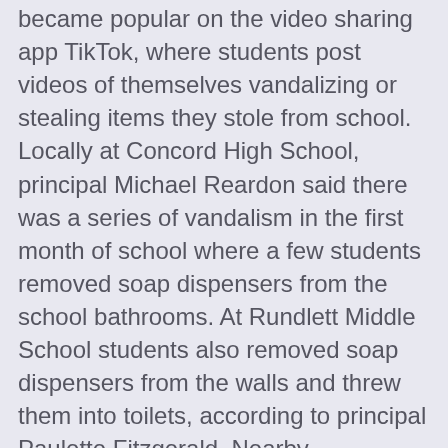became popular on the video sharing app TikTok, where students post videos of themselves vandalizing or stealing items they stole from school. Locally at Concord High School, principal Michael Reardon said there was a series of vandalism in the first month of school where a few students removed soap dispensers from the school bathrooms. At Rundlett Middle School students also removed soap dispensers from the walls and threw them into toilets, according to principal Paulette Fitzgerald. Nearby, Merrimack Valley High School also had soap dispensers stolen and knocked off the walls.
In early October, Concord superintendent Kathleen Murphy wrote in a letter to families saying participation in harmful TikTok activities “will not be tolerated” and that students should expect “serious consequences” that would limit school privileges